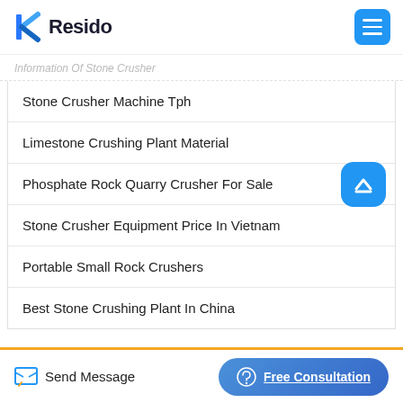Resido
Information Of Stone Crusher
Stone Crusher Machine Tph
Limestone Crushing Plant Material
Phosphate Rock Quarry Crusher For Sale
Stone Crusher Equipment Price In Vietnam
Portable Small Rock Crushers
Best Stone Crushing Plant In China
Send Message    Free Consultation